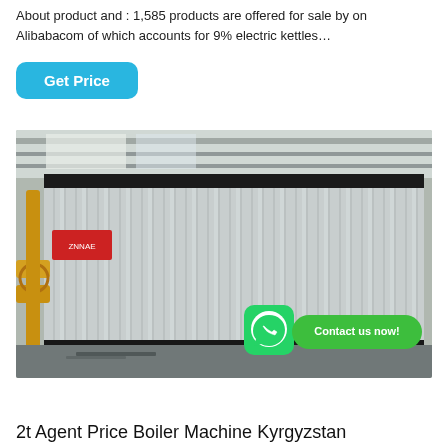About product and : 1,585 products are offered for sale by on Alibabacom of which accounts for 9% electric kettles…
Get Price
[Figure (photo): Large industrial boiler with corrugated metallic casing in a factory setting. Yellow pipes visible on the left side. WhatsApp icon and 'Contact us now!' button overlay at lower right.]
2t Agent Price Boiler Machine Kyrgyzstan